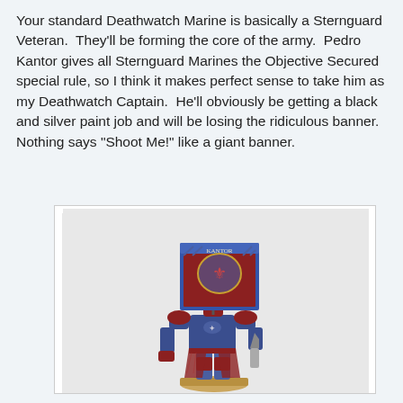Your standard Deathwatch Marine is basically a Sternguard Veteran.  They'll be forming the core of the army.  Pedro Kantor gives all Sternguard Marines the Objective Secured special rule, so I think it makes perfect sense to take him as my Deathwatch Captain.  He'll obviously be getting a black and silver paint job and will be losing the ridiculous banner.  Nothing says "Shoot Me!" like a giant banner.
[Figure (photo): A painted Warhammer 40K miniature of Pedro Kantor in blue and red power armor, holding a large heraldic banner with claw and chainsword, standing on a base.]